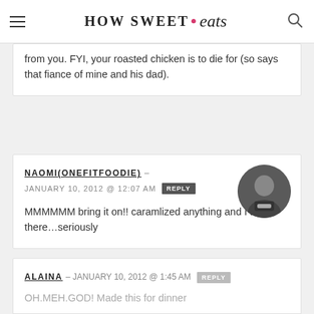HOW SWEET eats
from you. FYI, your roasted chicken is to die for (so says that fiance of mine and his dad).
NAOMI(ONEFITFOODIE) – JANUARY 10, 2012 @ 12:07 AM REPLY
MMMMMMM bring it on!! caramlized anything and I am there...seriously
ALAINA – JANUARY 10, 2012 @ 1:45 AM REPLY
OH.MEH.GOD! Made this for dinner